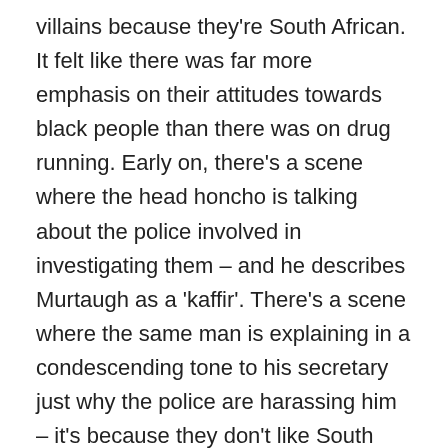villains because they're South African. It felt like there was far more emphasis on their attitudes towards black people than there was on drug running. Early on, there's a scene where the head honcho is talking about the police involved in investigating them – and he describes Murtaugh as a 'kaffir'. There's a scene where the same man is explaining in a condescending tone to his secretary just why the police are harassing him – it's because they don't like South African policies – and another time when the fact that black men 'have guns and badges' is said in such a tone as to suggest '… and this will be the end of civilisation as we know it.' And Riggs is allowed to sleep with the South African woman only after she has disavowed the policies of her country. It's not a nuanced political film, but it is undoubtedly a political film. The third film has a more problematised view of black Americans,